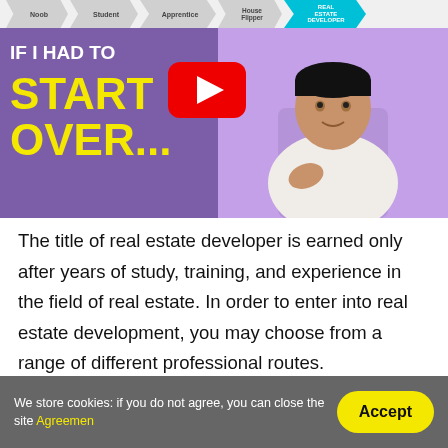[Figure (screenshot): YouTube video thumbnail showing a man in a white sweater against a purple background. Text reads 'IF I HAD TO START OVER...' with yellow lettering. A YouTube play button is overlaid. A progress bar at top shows steps: Noob, Student, Apprentice, House Flipper, REAL ESTATE DEVELOPER (active/highlighted in teal).]
The title of real estate developer is earned only after years of study, training, and experience in the field of real estate. In order to enter into real estate development, you may choose from a range of different professional routes.
We store cookies: if you do not agree, you can close the site Agreement